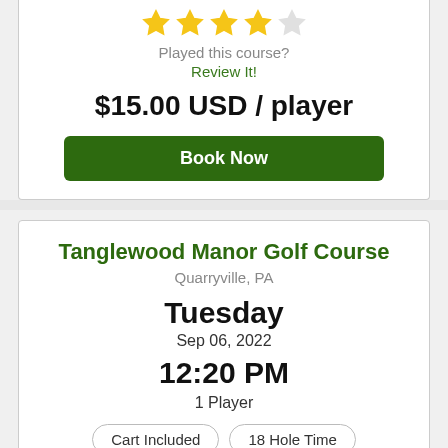[Figure (other): 4 out of 5 stars rating (4 filled gold stars, 1 empty)]
Played this course?
Review It!
$15.00 USD / player
Book Now
Tanglewood Manor Golf Course
Quarryville, PA
Tuesday
Sep 06, 2022
12:20 PM
1 Player
Cart Included
18 Hole Time
[Figure (other): 3 out of 5 stars rating (3 filled gold stars, 2 empty)]
Played this course?